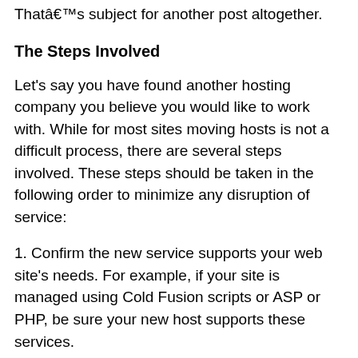That's subject for another post altogether.
The Steps Involved
Let's say you have found another hosting company you believe you would like to work with. While for most sites moving hosts is not a difficult process, there are several steps involved. These steps should be taken in the following order to minimize any disruption of service:
1. Confirm the new service supports your web site's needs. For example, if your site is managed using Cold Fusion scripts or ASP or PHP, be sure your new host supports these services.
2. If your site uses one or more databases be sure you understand the process for migrating your database. This can complicate the issue as an Access database will typically have a different